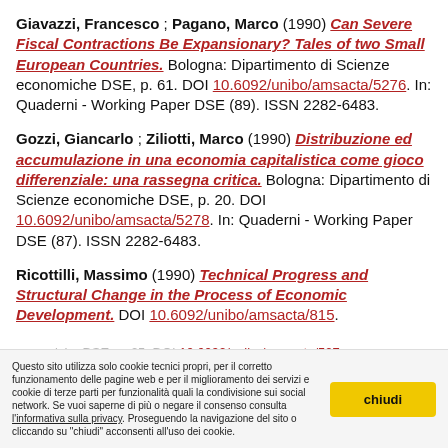Giavazzi, Francesco ; Pagano, Marco (1990) Can Severe Fiscal Contractions Be Expansionary? Tales of two Small European Countries. Bologna: Dipartimento di Scienze economiche DSE, p. 61. DOI 10.6092/unibo/amsacta/5276. In: Quaderni - Working Paper DSE (89). ISSN 2282-6483.
Gozzi, Giancarlo ; Ziliotti, Marco (1990) Distribuzione ed accumulazione in una economia capitalistica come gioco differenziale: una rassegna critica. Bologna: Dipartimento di Scienze economiche DSE, p. 20. DOI 10.6092/unibo/amsacta/5278. In: Quaderni - Working Paper DSE (87). ISSN 2282-6483.
Ricottilli, Massimo (1990) Technical Progress and Structural Change in the Process of Economic Development. DOI 10.6092/unibo/amsacta/815.
Questo sito utilizza solo cookie tecnici propri, per il corretto funzionamento delle pagine web e per il miglioramento dei servizi e cookie di terze parti per funzionalità quali la condivisione sui social network. Se vuoi saperne di più o negare il consenso consulta l'informativa sulla privacy. Proseguendo la navigazione del sito o cliccando su "chiudi" acconsenti all'uso dei cookie.